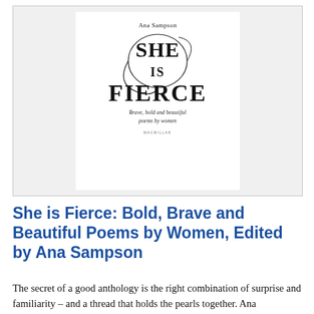[Figure (illustration): Book cover of 'She is Fierce: Brave, bold and beautiful poems by women' edited by Ana Sampson, published by Macmillan. White cover with decorative swirl and large serif title text.]
She is Fierce: Bold, Brave and Beautiful Poems by Women, Edited by Ana Sampson
The secret of a good anthology is the right combination of surprise and familiarity – and a thread that holds the pearls together. Ana Sampson's deftly